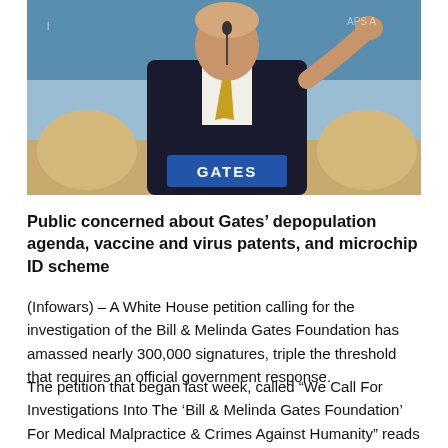[Figure (photo): Man in dark suit with gold tie sitting at a conference table with a blue nameplate reading 'GATES', gesturing with his right hand. Background shows blue signage.]
Public concerned about Gates’ depopulation agenda, vaccine and virus patents, and microchip ID scheme
(Infowars) – A White House petition calling for the investigation of the Bill & Melinda Gates Foundation has amassed nearly 300,000 signatures, triple the threshold that requires an official government response.
The petition that began last week, called “We Call For Investigations Into The ‘Bill & Melinda Gates Foundation’ For Medical Malpractice & Crimes Against Humanity” reads as follows: